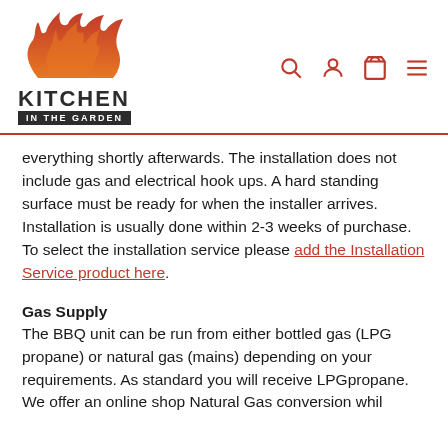Kitchen In The Garden - logo and navigation icons
everything shortly afterwards. The installation does not include gas and electrical hook ups. A hard standing surface must be ready for when the installer arrives. Installation is usually done within 2-3 weeks of purchase. To select the installation service please add the Installation Service product here.
Gas Supply
The BBQ unit can be run from either bottled gas (LPG propane) or natural gas (mains) depending on your requirements. As standard you will receive LPGpropane. We offer an online shop Natural Gas conversion whil...